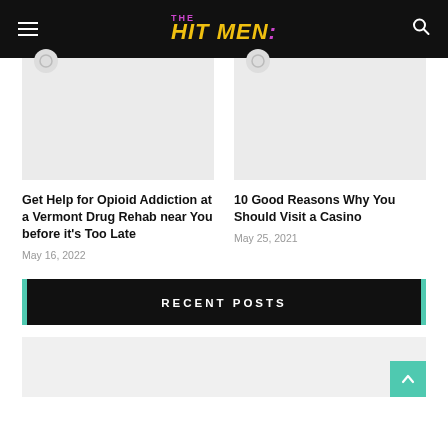THE HIT MEN:
[Figure (photo): Placeholder image for article about opioid addiction Vermont drug rehab]
Get Help for Opioid Addiction at a Vermont Drug Rehab near You before it's Too Late
May 16, 2022
[Figure (photo): Placeholder image for article about 10 reasons to visit a casino]
10 Good Reasons Why You Should Visit a Casino
May 25, 2021
RECENT POSTS
[Figure (photo): Placeholder image at bottom of page]